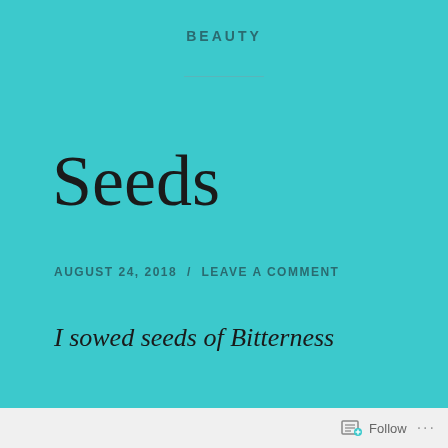BEAUTY
Seeds
AUGUST 24, 2018  /  LEAVE A COMMENT
I sowed seeds of Bitterness
Every time I suffered.
I watered it
Follow